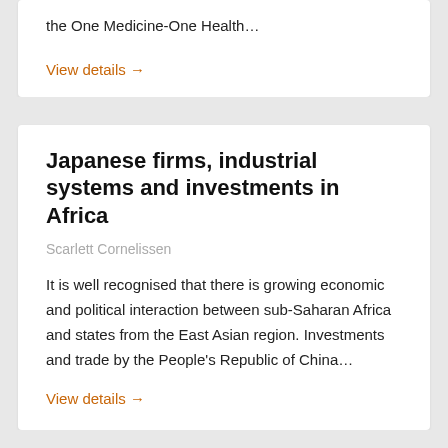the One Medicine-One Health…
View details →
Japanese firms, industrial systems and investments in Africa
Scarlett Cornelissen
It is well recognised that there is growing economic and political interaction between sub-Saharan Africa and states from the East Asian region. Investments and trade by the People's Republic of China…
View details →